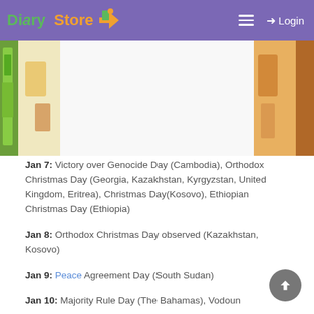Diary Store — Login
[Figure (photo): Colorful background banner image with school/diary supplies on left and right edges, white center area]
Jan 7: Victory over Genocide Day (Cambodia), Orthodox Christmas Day (Georgia, Kazakhstan, Kyrgyzstan, United Kingdom, Eritrea), Christmas Day(Kosovo), Ethiopian Christmas Day (Ethiopia)
Jan 8: Orthodox Christmas Day observed (Kazakhstan, Kosovo)
Jan 9: Peace Agreement Day (South Sudan)
Jan 10: Majority Rule Day (The Bahamas), Vodoun